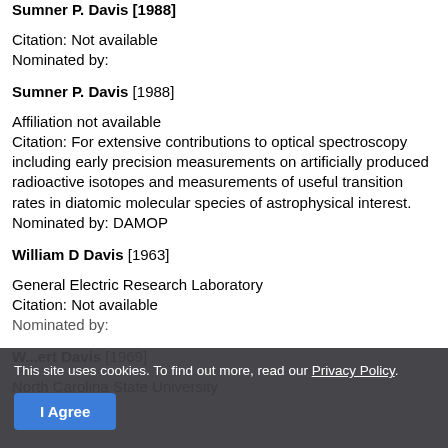Sumner P. Davis [1988]
Citation: Not available
Nominated by:
Sumner P. Davis [1988]
Affiliation not available
Citation: For extensive contributions to optical spectroscopy including early precision measurements on artificially produced radioactive isotopes and measurements of useful transition rates in diatomic molecular species of astrophysical interest.
Nominated by: DAMOP
William D Davis [1963]
General Electric Research Laboratory
Citation: Not available
Nominated by:
W...ert Davis [1969]
North Carolina State University
This site uses cookies. To find out more, read our Privacy Policy.
I Agree